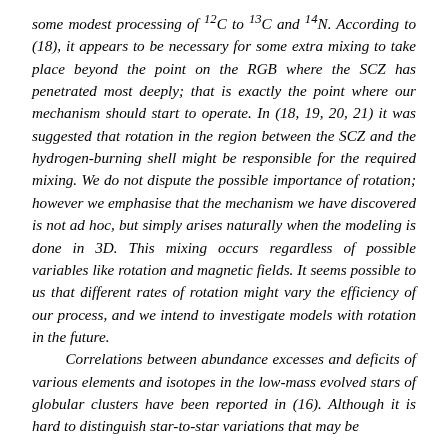some modest processing of 12C to 13C and 14N. According to (18), it appears to be necessary for some extra mixing to take place beyond the point on the RGB where the SCZ has penetrated most deeply; that is exactly the point where our mechanism should start to operate. In (18, 19, 20, 21) it was suggested that rotation in the region between the SCZ and the hydrogen-burning shell might be responsible for the required mixing. We do not dispute the possible importance of rotation; however we emphasise that the mechanism we have discovered is not ad hoc, but simply arises naturally when the modeling is done in 3D. This mixing occurs regardless of possible variables like rotation and magnetic fields. It seems possible to us that different rates of rotation might vary the efficiency of our process, and we intend to investigate models with rotation in the future. Correlations between abundance excesses and deficits of various elements and isotopes in the low-mass evolved stars of globular clusters have been reported in (16). Although it is hard to distinguish star-to-star variations that may be